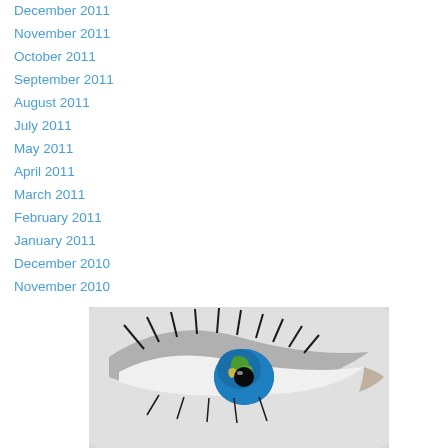December 2011
November 2011
October 2011
September 2011
August 2011
July 2011
May 2011
April 2011
March 2011
February 2011
January 2011
December 2010
November 2010
[Figure (photo): Close-up black and white photo of a human eye with the globe/Earth reflected in the iris showing Europe and Africa in color (blue ocean, green land).]